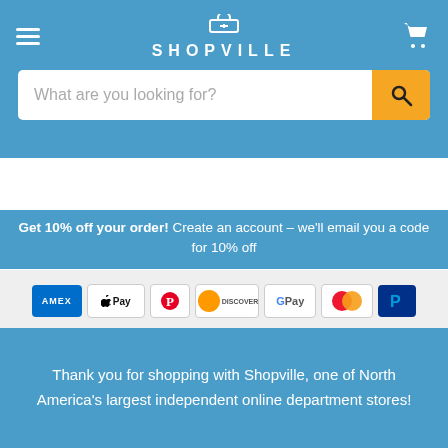SHOPVILLE
What are you looking for?
Get 10% off your order! Create an account – we'll email you a code for 10% off
[Figure (other): Payment method logos row: Amex, Apple Pay, Pinterest Pay, Discover, Google Pay, Mastercard, PayPal]
[Figure (other): Payment method logos row: Shop Pay, Visa]
FAQs | Contact Us | Return Policy | Refund Policy | Shipping Info | Billing & Payments | Region Compatibility | Disclaimer
Thank you for shopping with Shopville, one of North America's largest independent online department stores!